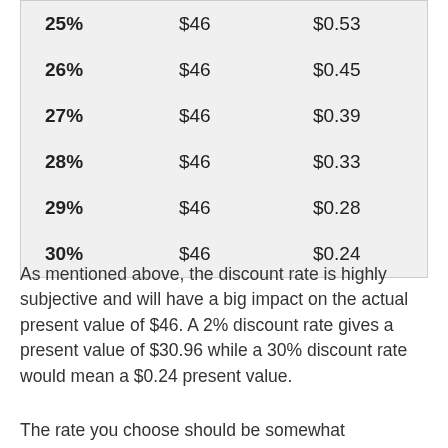| 25% | $46 | $0.53 |
| 26% | $46 | $0.45 |
| 27% | $46 | $0.39 |
| 28% | $46 | $0.33 |
| 29% | $46 | $0.28 |
| 30% | $46 | $0.24 |
As mentioned above, the discount rate is highly subjective and will have a big impact on the actual present value of $46. A 2% discount rate gives a present value of $30.96 while a 30% discount rate would mean a $0.24 present value.
The rate you choose should be somewhat